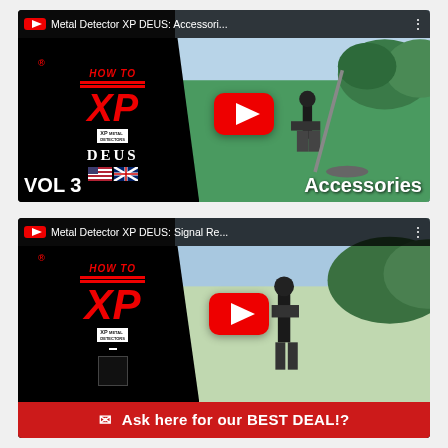[Figure (screenshot): YouTube video thumbnail for 'Metal Detector XP DEUS: Accessori...' showing XP DEUS VOL 3 branding on left and a man kneeling with a metal detector on right, with YouTube play button overlay. Bottom text: VOL 3 and Accessories.]
[Figure (screenshot): YouTube video thumbnail for 'Metal Detector XP DEUS: Signal Re...' showing XP DEUS branding on left and a man standing in a field on right, with YouTube play button overlay. Bottom red banner: Ask here for our BEST DEAL!?]